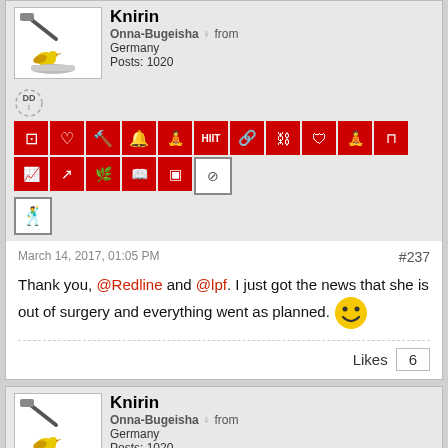[Figure (screenshot): Forum post by Knirin, Onna-Bugeisha from Germany, Posts: 1020, with badge icons row]
March 14, 2017, 01:05 PM
#237
Thank you, @Redline and @lpf. I just got the news that she is out of surgery and everything went as planned. 🙂
Likes  6
[Figure (screenshot): Second forum post by Knirin, Onna-Bugeisha from Germany, Posts: 1020, with badge icons row]